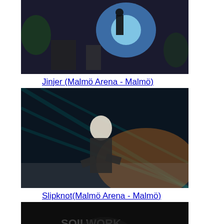[Figure (photo): Concert photo of Jinjer performing on stage with blue spotlight lighting]
Jinjer (Malmö Arena - Malmö)
[Figure (photo): Concert photo of Slipknot performer in mask on stage with orange/purple lighting]
Slipknot(Malmö Arena - Malmö)
[Figure (photo): Concert photo of Soilwork vocalist performing on stage with dark lighting]
Soilwork (Malmö Arena - Malmö)
[Figure (photo): Concert photo of Slipknot performer on stage with purple spotlight lighting]
Slipknot (Malmö Arena - Malmö)
[Figure (photo): Partial concert photo at bottom of page]